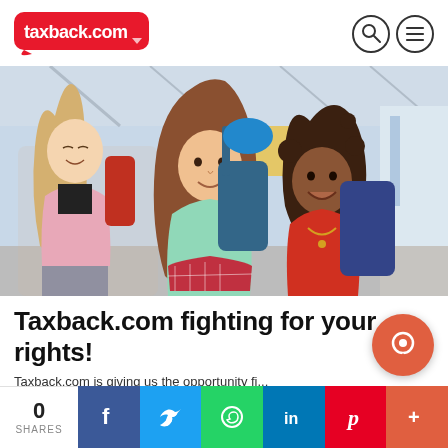taxback.com
[Figure (photo): Three young women with backpacks walking through an airport, smiling]
Taxback.com fighting for your rights!
Taxback.com is giving us the opportunity fi...
[Figure (other): Social share bar with 0 SHARES, Facebook, Twitter, WhatsApp, LinkedIn, Pinterest, More buttons]